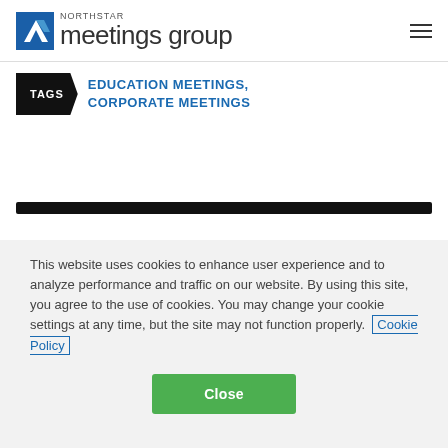Northstar meetings group
TAGS  EDUCATION MEETINGS, CORPORATE MEETINGS
This website uses cookies to enhance user experience and to analyze performance and traffic on our website. By using this site, you agree to the use of cookies. You may change your cookie settings at any time, but the site may not function properly. Cookie Policy
Close